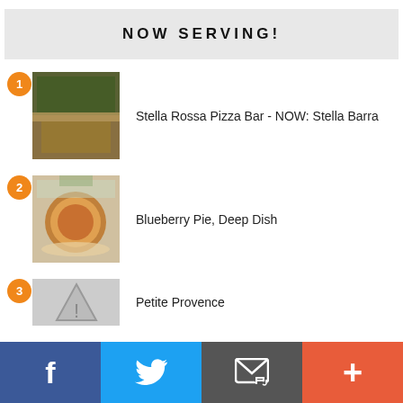NOW SERVING!
Stella Rossa Pizza Bar - NOW: Stella Barra
Blueberry Pie, Deep Dish
Petite Provence
Facebook | Twitter | Email | Plus